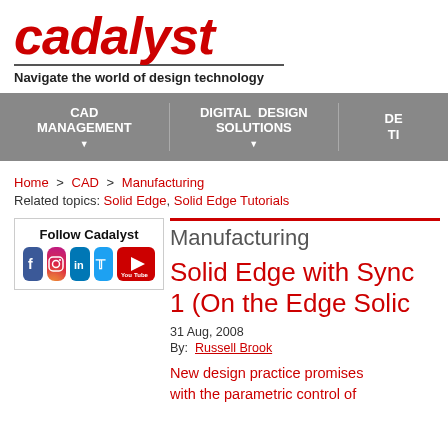[Figure (logo): Cadalyst logo in red italic bold text with tagline 'Navigate the world of design technology']
Navigate the world of design technology
[Figure (infographic): Gray navigation bar with menu items: CAD MANAGEMENT, DIGITAL SOLUTIONS, DESIGN, DE T (partially visible)]
Home > CAD > Manufacturing
Related topics: Solid Edge, Solid Edge Tutorials
[Figure (infographic): Follow Cadalyst box with social media icons: Facebook, Instagram, LinkedIn, Twitter, YouTube]
Manufacturing
Solid Edge with Synchronous Technology 1 (On the Edge Solid Edge)
31 Aug, 2008
By: Russell Brook
New design practice promises to combine the freedom of direct modeling with the parametric control of